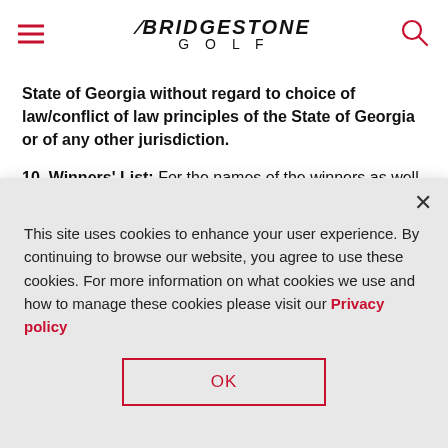BRIDGESTONE GOLF
State of Georgia without regard to choice of law/conflict of law principles of the State of Georgia or of any other jurisdiction.
10. Winners' List: For the names of the winners as well as their state of residence (available after Sept
This site uses cookies to enhance your user experience. By continuing to browse our website, you agree to use these cookies. For more information on what cookies we use and how to manage these cookies please visit our Privacy policy
OK